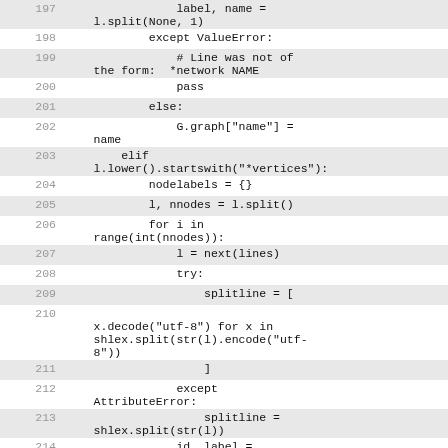Code listing lines 197-215, Python source code for parsing network graph files